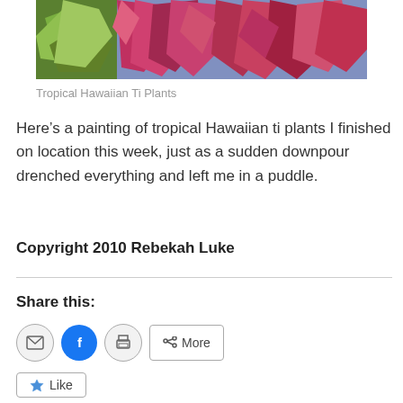[Figure (photo): Painting of tropical Hawaiian ti plants with red, pink, green and purple foliage against a blue background, cropped at top.]
Tropical Hawaiian Ti Plants
Here’s a painting of tropical Hawaiian ti plants I finished on location this week, just as a sudden downpour drenched everything and left me in a puddle.
Copyright 2010 Rebekah Luke
Share this:
[Figure (screenshot): Share buttons: email icon (gray circle), Facebook icon (blue circle), print icon (gray circle), and a 'More' button with share icon.]
[Figure (screenshot): Like button with star icon.]